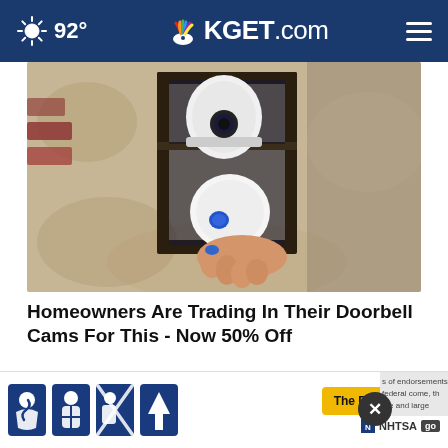92° KGET.com
[Figure (photo): A person installing or handling a white security camera inside an outdoor lantern-style light fixture mounted on a textured stone wall.]
Homeowners Are Trading In Their Doorbell Cams For This - Now 50% Off
Camera
[Figure (screenshot): Partial view of a US mail envelope/document, with an advertisement overlay showing car seat safety icons and NHTSA branding with 'The Right Seat' call-to-action button.]